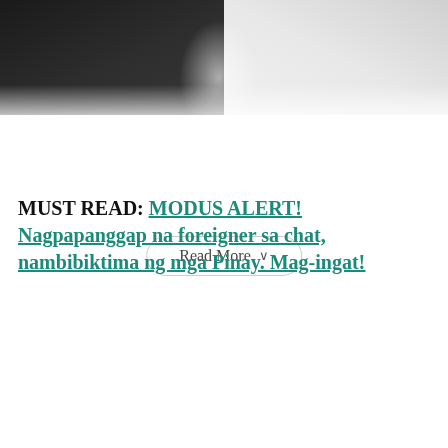[Figure (photo): Dark moody photo showing silhouetted figures with smoke or mist, partially cropped at top of page]
Read More ∨
MUST READ: MODUS ALERT! Nagpapanggap na foreigner sa chat, nambibiktima ng mga Pinay. Mag-ingat!